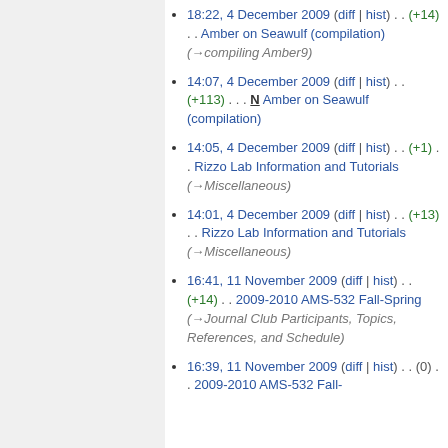18:22, 4 December 2009 (diff | hist) . . (+14) . . Amber on Seawulf (compilation) (→compiling Amber9)
14:07, 4 December 2009 (diff | hist) . . (+113) . . N Amber on Seawulf (compilation)
14:05, 4 December 2009 (diff | hist) . . (+1) . . Rizzo Lab Information and Tutorials (→Miscellaneous)
14:01, 4 December 2009 (diff | hist) . . (+13) . . Rizzo Lab Information and Tutorials (→Miscellaneous)
16:41, 11 November 2009 (diff | hist) . . (+14) . . 2009-2010 AMS-532 Fall-Spring (→Journal Club Participants, Topics, References, and Schedule)
16:39, 11 November 2009 (diff | hist) . . (0) . . 2009-2010 AMS-532 Fall-